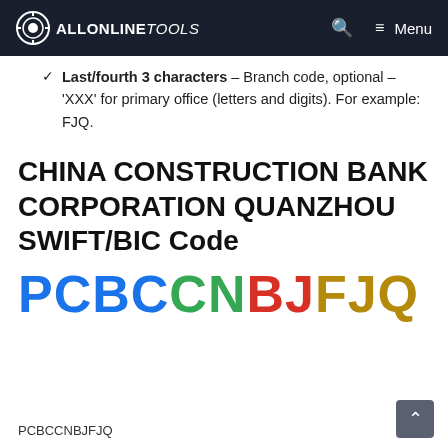ALLONLINETOOLS — Menu
Last/fourth 3 characters – Branch code, optional – 'XXX' for primary office (letters and digits). For example: FJQ.
CHINA CONSTRUCTION BANK CORPORATION QUANZHOU SWIFT/BIC Code
[Figure (other): Colored BIC code display: PCBCCNBJFJQ with each segment in a different color (blue: PCBC, green: CN, red: BJ, gold: FJQ)]
PCBCCNBJFJQ